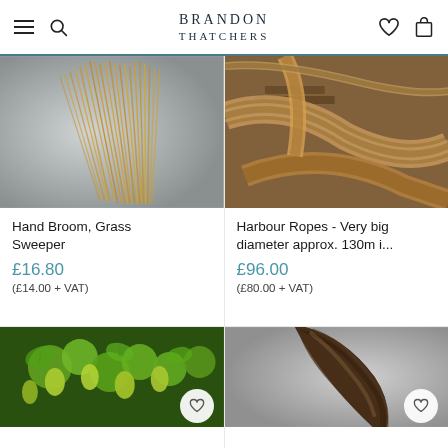BRANDON THATCHERS
[Figure (photo): Bundle of golden dried grass/straw - Hand Broom product]
Hand Broom, Grass Sweeper
£16.80
(£14.00 + VAT)
[Figure (photo): Large thick harbour ropes with braided/twisted texture on wooden surface]
Harbour Ropes - Very big diameter approx. 130m i...
£96.00
(£80.00 + VAT)
[Figure (photo): Green hop flowers/plants with leaves]
[Figure (photo): Curved brown horn-like object on grey background]